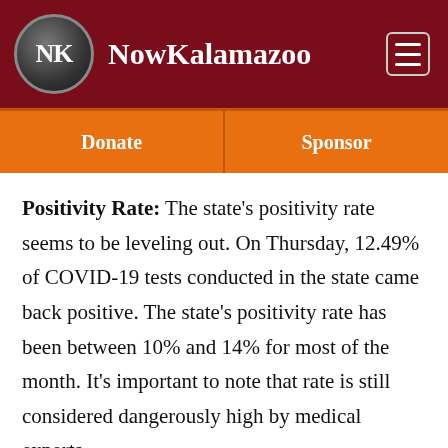NowKalamazoo
Donate   Sponsor
Positivity Rate: The state's positivity rate seems to be leveling out. On Thursday, 12.49% of COVID-19 tests conducted in the state came back positive. The state's positivity rate has been between 10% and 14% for most of the month. It's important to note that rate is still considered dangerously high by medical experts.
Kalamazoo County's positivity rate was 13.6% on